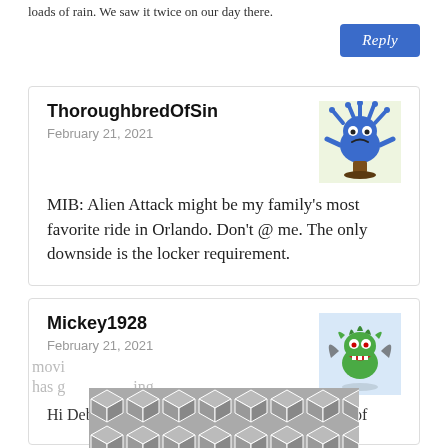loads of rain. We saw it twice on our day there.
Reply
ThoroughbredOfSin
February 21, 2021
[Figure (illustration): Blue cartoon monster avatar with spiky protrusions and a grumpy expression, standing on a brown stump, on a light green background]
MIB: Alien Attack might be my family’s most favorite ride in Orlando. Don’t @ me. The only downside is the locker requirement.
Mickey1928
February 21, 2021
[Figure (illustration): Green cartoon monster/dragon avatar with wings, red mouth, and bat-like ears, on a light blue background]
Hi Deb C. My wife and I are seriously thinking of movi... has g... ing